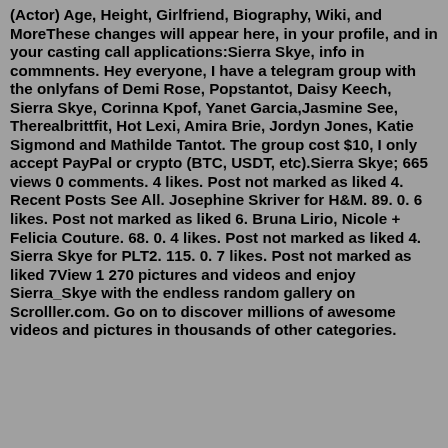(Actor) Age, Height, Girlfriend, Biography, Wiki, and MoreThese changes will appear here, in your profile, and in your casting call applications:Sierra Skye, info in commnents. Hey everyone, I have a telegram group with the onlyfans of Demi Rose, Popstantot, Daisy Keech, Sierra Skye, Corinna Kpof, Yanet Garcia,Jasmine See, Therealbrittfit, Hot Lexi, Amira Brie, Jordyn Jones, Katie Sigmond and Mathilde Tantot. The group cost $10, I only accept PayPal or crypto (BTC, USDT, etc).Sierra Skye; 665 views 0 comments. 4 likes. Post not marked as liked 4. Recent Posts See All. Josephine Skriver for H&M. 89. 0. 6 likes. Post not marked as liked 6. Bruna Lirio, Nicole + Felicia Couture. 68. 0. 4 likes. Post not marked as liked 4. Sierra Skye for PLT2. 115. 0. 7 likes. Post not marked as liked 7View 1 270 pictures and videos and enjoy Sierra_Skye with the endless random gallery on Scrolller.com. Go on to discover millions of awesome videos and pictures in thousands of other categories.